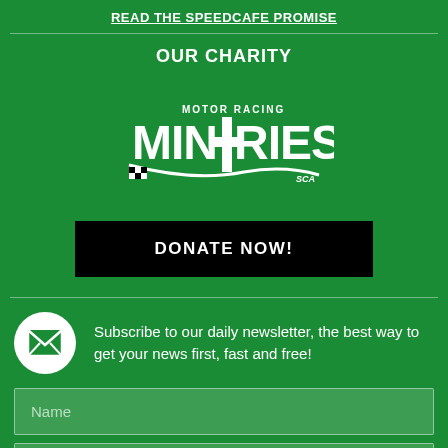READ THE SPEEDCAFE PROMISE
OUR CHARITY
[Figure (logo): Motor Racing Ministries SCA logo in black and white]
DONATE NOW!
Subscribe to our daily newsletter, the best way to get your news first, fast and free!
Name
Email Address